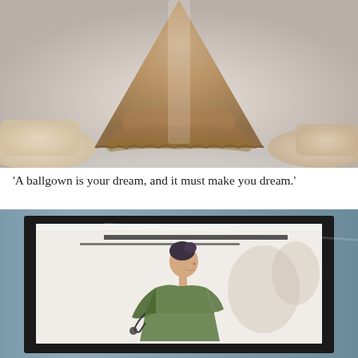[Figure (photo): A large brown tulle ballgown on display in a museum setting, shown from waist down, surrounded by other pale gowns on a white floor]
'A ballgown is your dream, and it must make you dream.'
[Figure (photo): A framed fashion illustration sketch displayed behind glass, showing a woman in profile wearing a green draped dress, with dark hair pinned up]